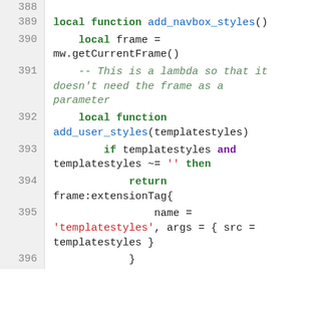[Figure (screenshot): Code listing showing Lua source code lines 388-396, with syntax highlighting. Keywords in bold green, function names in blue, comments in italic green, strings in red, operators in purple.]